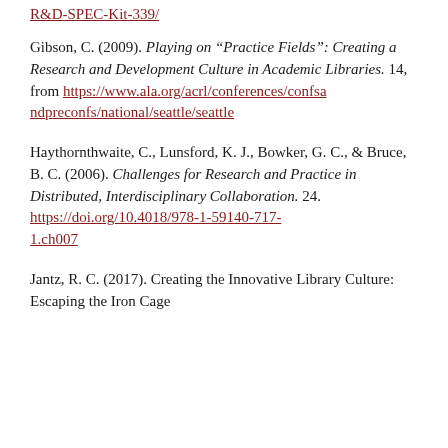R&D-SPEC-Kit-339/
Gibson, C. (2009). Playing on “Practice Fields”: Creating a Research and Development Culture in Academic Libraries. 14, from https://www.ala.org/acrl/conferences/confsandpreconfs/national/seattle/seattle
Haythornthwaite, C., Lunsford, K. J., Bowker, G. C., & Bruce, B. C. (2006). Challenges for Research and Practice in Distributed, Interdisciplinary Collaboration. 24. https://doi.org/10.4018/978-1-59140-717-1.ch007
Jantz, R. C. (2017). Creating the Innovative Library Culture: Escaping the Iron Cage